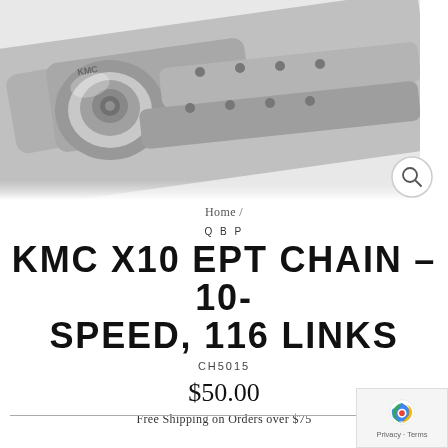[Figure (photo): Close-up photo of a KMC bicycle chain showing metallic chain links and a master link connector with KMC branding on a white background]
Home /
QBP
KMC X10 EPT CHAIN – 10-SPEED, 116 LINKS
CH5015
$50.00
Free Shipping on Orders over $75